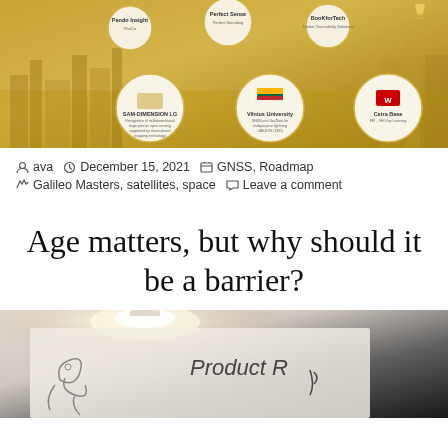[Figure (infographic): Galileo Masters competition winners/participants infographic showing circular medallions for Panda Insight, Perfect Sense, BooKforTech (top row), SAM-DIMENSION LG, Vilnius University, Cetra Base (bottom row), with a golden cityscape background and trophy icon]
ava   December 15, 2021   GNSS, Roadmap
Galileo Masters, satellites, space   Leave a comment
Age matters, but why should it be a barrier?
[Figure (photo): Photo showing a whiteboard with hand-drawn doodles and text reading 'Product R...' with a bright overhead light in a dim setting]